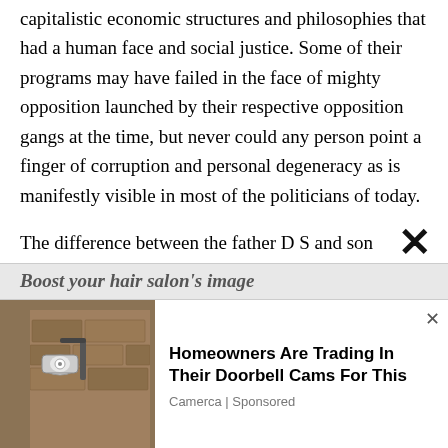capitalistic economic structures and philosophies that had a human face and social justice. Some of their programs may have failed in the face of mighty opposition launched by their respective opposition gangs at the time, but never could any person point a finger of corruption and personal degeneracy as is manifestly visible in most of the politicians of today.
The difference between the father D S and son Dudley was, whereas D S could read the pulse of the people fairly well, Dudley was woefully deficient in that art and craft. The only other
[Figure (screenshot): Advertisement overlay: photo of outdoor wall lamp on stone wall on left; text 'Homeowners Are Trading In Their Doorbell Cams For This' with source 'Camerca | Sponsored' on right. A close (x) button is shown top-right. A banner strip showing 'Boost your hair salon's image' is partially visible above the ad.]